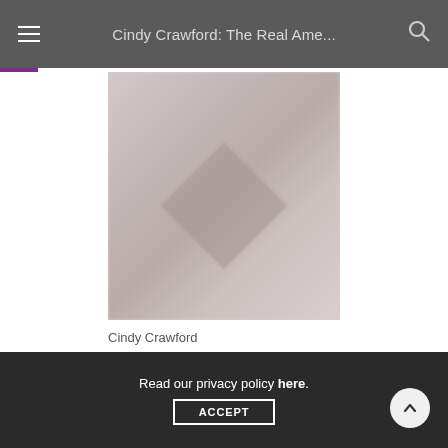Cindy Crawford: The Real Ame...
[Figure (photo): Blurred/obscured photo of Cindy Crawford]
Cindy Crawford
[Figure (photo): Partially visible second blurred photo at the bottom of the page]
Read our privacy policy here.
ACCEPT